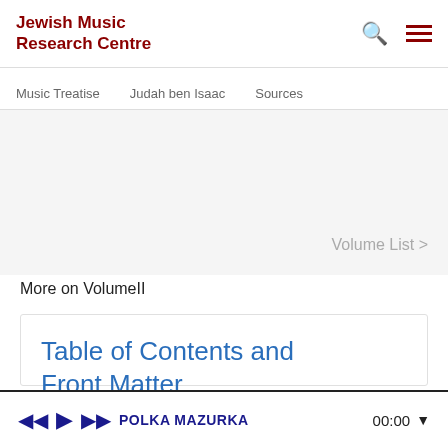Jewish Music Research Centre
Music Treatise   Judah ben Isaac   Sources
Volume List >
More on VolumeII
Table of Contents and Front Matter
Published online: 02.11.20
◄◄  ► ►► POLKA MAZURKA   00:00 ▼